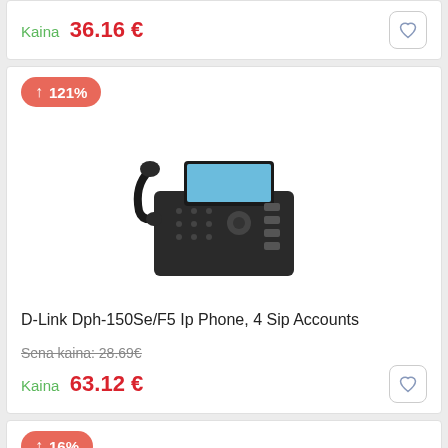Kaina 36.16 €
[Figure (illustration): Salmon/red badge with upward arrow and text '121%']
[Figure (photo): D-Link DPH-150Se/F5 IP desk phone, dark grey/black color, with handset and keypad]
D-Link Dph-150Se/F5 Ip Phone, 4 Sip Accounts
Sena kaina: 28.69€
Kaina 63.12 €
[Figure (illustration): Salmon/red badge with upward arrow and text '16%']
[Figure (photo): Placeholder image for a product (mountains/image icon)]